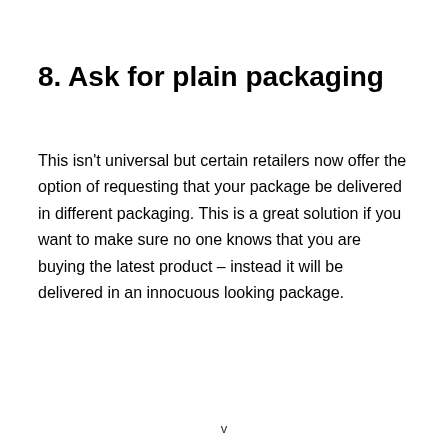8. Ask for plain packaging
This isn't universal but certain retailers now offer the option of requesting that your package be delivered in different packaging. This is a great solution if you want to make sure no one knows that you are buying the latest product – instead it will be delivered in an innocuous looking package.
v